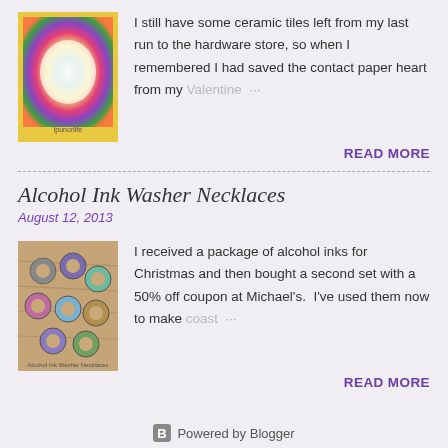[Figure (photo): Colorful alcohol ink tile with rainbow colors and a heart shape]
I still have some ceramic tiles left from my last run to the hardware store, so when I remembered I had saved the contact paper heart from my Valentine …
READ MORE
Alcohol Ink Washer Necklaces
August 12, 2013
[Figure (photo): Alcohol Ink Washer Necklaces - metal washers with colorful alcohol ink on wooden surface]
I received a package of alcohol inks for Christmas and then bought a second set with a 50% off coupon at Michael's.  I've used them now to make coast …
READ MORE
Powered by Blogger